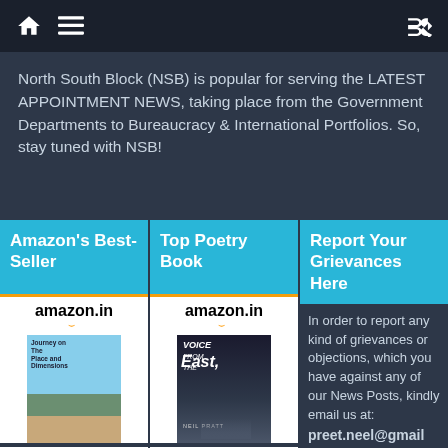North South Block (NSB) — navigation bar with home, menu, and shuffle icons
North South Block (NSB) is popular for serving the LATEST APPOINTMENT NEWS, taking place from the Government Departments to Bureaucracy & International Portfolios. So, stay tuned with NSB!
Amazon's Best-Seller
[Figure (illustration): Amazon.in product listing for 'Journey With Time Place...' book cover showing a mountain and bay scene, priced at INR 140.00]
Journey With Time Place...
INR 140.00
Top Poetry Book
[Figure (illustration): Amazon.in product listing for 'Voice from the East' book by Neil Pratt, dark cover with silhouette figure, priced at INR 141.00]
Voice from the East
INR 141.00
Report Your Grievances Here
In order to report any kind of grievances or objections, which you have against any of our News Posts, kindly email us at: preet.neel@gmail